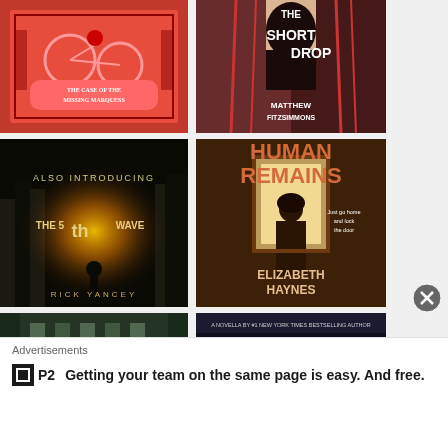[Figure (photo): Book cover: The Case of the Missing Marquess - red illustrated cover with bicycle motif]
[Figure (photo): Book cover: The Short Drop by Matthew Fitzsimmons - dark silhouette thriller cover]
[Figure (photo): Book cover: The 5th Wave by Rick Yancey - dark forest with glowing light]
[Figure (photo): Book cover: Human Remains by Elizabeth Haynes - woman silhouette at window, brown tones]
[Figure (photo): Book cover: Manel Loureiro - partial view, dark building]
[Figure (photo): Book cover: Brandon Sanderson novella - partial view]
Advertisements
Getting your team on the same page is easy. And free.